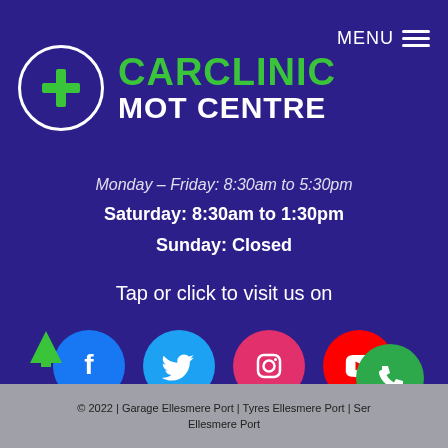[Figure (logo): CarClinic MOT Centre logo: green cross in white circle, with CARCLINIC in green and MOT CENTRE in white text]
MENU
Monday – Friday: 8:30am to 5:30pm
Saturday: 8:30am to 1:30pm
Sunday: Closed
Tap or click to visit us on
[Figure (infographic): Social media icons row: Facebook (blue), Twitter (light blue), Instagram (pink/red), YouTube (red)]
© 2022 | Garage Ellesmere Port | Tyres Ellesmere Port | Ser... Ellesmere Port